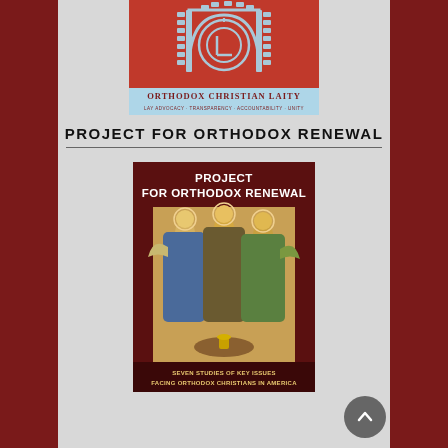[Figure (logo): Orthodox Christian Laity logo - red background with circular OCL monogram under an arch, light blue banner below reading ORTHODOX CHRISTIAN LAITY with subtitle LAY ADVOCACY · TRANSPARENCY · ACCOUNTABILITY · UNITY]
PROJECT FOR ORTHODOX RENEWAL
[Figure (photo): Book cover for 'Project for Orthodox Renewal' - dark red cover with title text at top, featuring Rublev's Trinity icon image in the center, subtitle at bottom reads SEVEN STUDIES OF KEY ISSUES FACING ORTHODOX CHRISTIANS IN AMERICA]